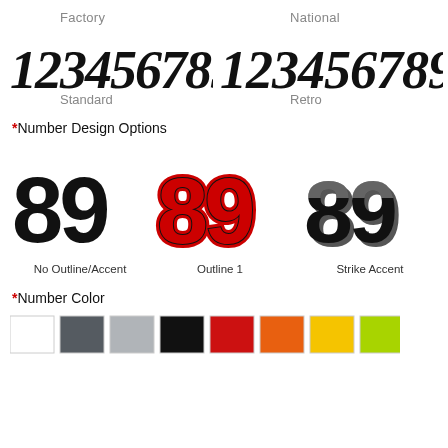Factory
National
[Figure (illustration): Factory style number font: bold italic serif 1234567890]
[Figure (illustration): National style number font: bold italic serif 1234567890]
Standard
Retro
*Number Design Options
[Figure (illustration): Number 89 with no outline or accent - black bold numerals]
[Figure (illustration): Number 89 with Outline 1 - red outline, black fill]
[Figure (illustration): Number 89 with Strike Accent - 3D-style shadow effect]
No Outline/Accent
Outline 1
Strike Accent
*Number Color
[Figure (illustration): Color swatches: white, dark gray, light gray, black, red, orange, yellow, lime green]